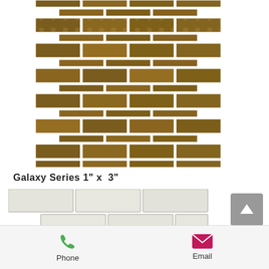[Figure (photo): Mosaic tile pattern in brown/bronze with floral/paisley texture arranged in brick-like rows]
Galaxy Series 1" x  3"
[Figure (photo): Glass tile samples in white/clear showing 1x3 inch tiles arranged in rows]
[Figure (other): Back to top button with upward arrow on grey background]
Phone
Email